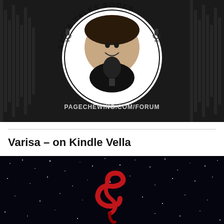[Figure (photo): Steve Talks Books podcast logo: a man smiling in front of a bookshelf, sitting at a microphone. He is inside a circular badge with the text 'STEVE TALKS BOOKS' around the border and two microphone illustrations. Below the circle reads 'PAGECHEWING.COM/FORUM'. Background is dark with vertical bar/waveform design.]
Varisa – on Kindle Vella
[Figure (photo): Dark starfield/night sky background with a red stylized letter 'S' or serpentine shape in the center-lower area. Appears to be a book cover for 'Varisa'.]